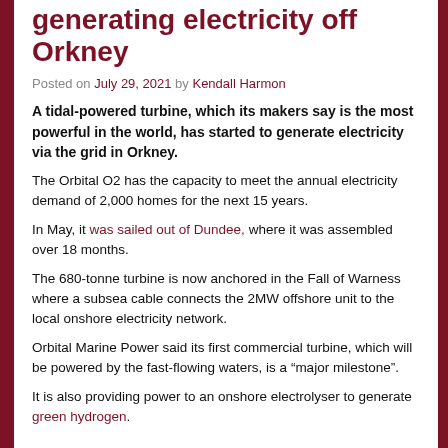generating electricity off Orkney
Posted on July 29, 2021 by Kendall Harmon
A tidal-powered turbine, which its makers say is the most powerful in the world, has started to generate electricity via the grid in Orkney.
The Orbital O2 has the capacity to meet the annual electricity demand of 2,000 homes for the next 15 years.
In May, it was sailed out of Dundee, where it was assembled over 18 months.
The 680-tonne turbine is now anchored in the Fall of Warness where a subsea cable connects the 2MW offshore unit to the local onshore electricity network.
Orbital Marine Power said its first commercial turbine, which will be powered by the fast-flowing waters, is a “major milestone”.
It is also providing power to an onshore electrolyser to generate green hydrogen.